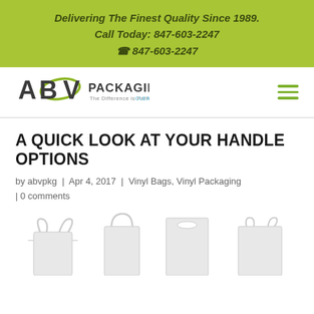Delivering The Finest Quality Since 1989.
Call Today: 847-603-2247
📞 847-603-2247
[Figure (logo): ABV Packaging logo with tagline 'The Difference is Perfectly CLEAR']
A QUICK LOOK AT YOUR HANDLE OPTIONS
by abvpkg | Apr 4, 2017 | Vinyl Bags, Vinyl Packaging | 0 comments
[Figure (photo): Four types of handled bags shown side by side: t-shirt bag, rope handle bag, die-cut handle bag, and twisted handle bag, all in white/clear]